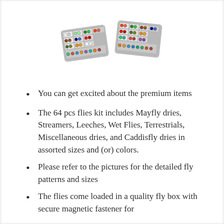[Figure (photo): A fly fishing box open showing two compartments filled with colorful fishing flies including mayfly dries, streamers, leeches, wet flies, terrestrials, miscellaneous dries, and caddisfly dries in assorted colors.]
You can get excited about the premium items
The 64 pcs flies kit includes Mayfly dries, Streamers, Leeches, Wet Flies, Terrestrials, Miscellaneous dries, and Caddisfly dries in assorted sizes and (or) colors.
Please refer to the pictures for the detailed fly patterns and sizes
The flies come loaded in a quality fly box with secure magnetic fastener for